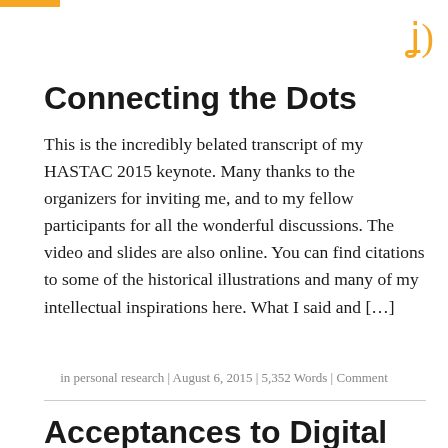Connecting the Dots
This is the incredibly belated transcript of my HASTAC 2015 keynote. Many thanks to the organizers for inviting me, and to my fellow participants for all the wonderful discussions. The video and slides are also online. You can find citations to some of the historical illustrations and many of my intellectual inspirations here. What I said and […]
in personal research | August 6, 2015 | 5,352 Words | Comment
Acceptances to Digital Humanities 2015 (part 4)